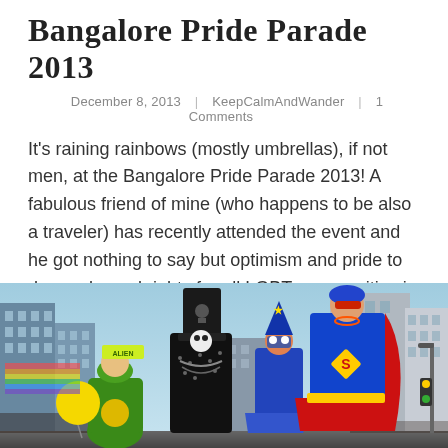Bangalore Pride Parade 2013
December 8, 2013  |  KeepCalmAndWander  |  1 Comments
It's raining rainbows (mostly umbrellas), if not men, at the Bangalore Pride Parade 2013! A fabulous friend of mine (who happens to be also a traveler) has recently attended the event and he got nothing to say but optimism and pride to demand equal rights for all LGBT communities in India. Escorted
[Figure (photo): Pride parade participants in colorful costumes including a green costume, black sequined dress with tall hat, blue wizard outfit, and Superman costume, marching down an urban street with tall buildings in the background.]